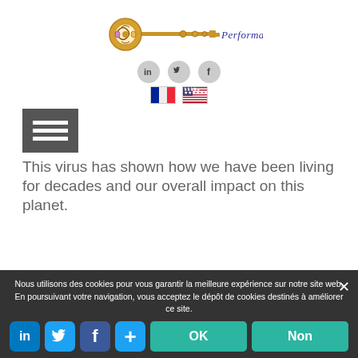[Figure (logo): Ornate golden key with decorative scrollwork, beside italic cursive text reading 'Performance Outside the Box' in purple/dark blue]
[Figure (infographic): Three circular social media icons: LinkedIn (in), Twitter (bird), Facebook (f), grey background circles]
[Figure (infographic): French flag and US flag icons side by side for language selection]
[Figure (infographic): Dark grey hamburger menu button with three white horizontal lines]
This virus has shown how we have been living for decades and our overall impact on this planet.
Nous utilisons des cookies pour vous garantir la meilleure expérience sur notre site web. En poursuivant votre navigation, vous acceptez le dépôt de cookies destinés à améliorer ce site.